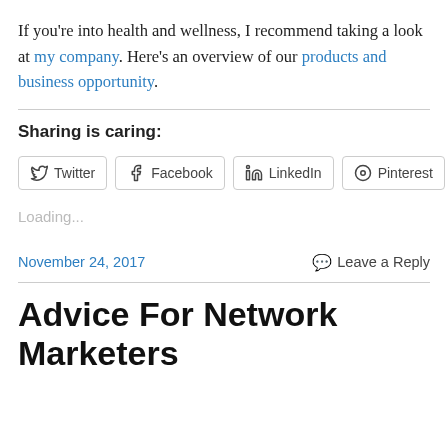If you're into health and wellness, I recommend taking a look at my company. Here's an overview of our products and business opportunity.
Sharing is caring:
[Figure (other): Social sharing buttons row: Twitter, Facebook, LinkedIn, Pinterest, More]
Loading...
November 24, 2017    Leave a Reply
Advice For Network Marketers